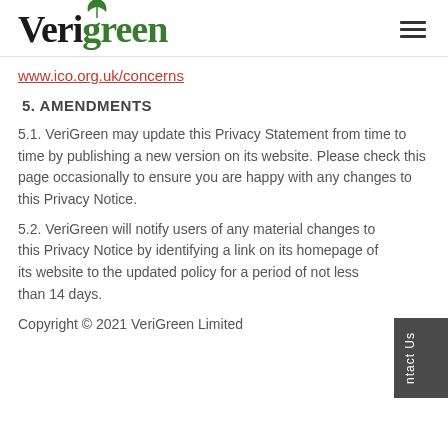Verigreen
www.ico.org.uk/concerns
5. AMENDMENTS
5.1. VeriGreen may update this Privacy Statement from time to time by publishing a new version on its website. Please check this page occasionally to ensure you are happy with any changes to this Privacy Notice.
5.2. VeriGreen will notify users of any material changes to this Privacy Notice by identifying a link on its homepage of its website to the updated policy for a period of not less than 14 days.
Copyright © 2021 VeriGreen Limited